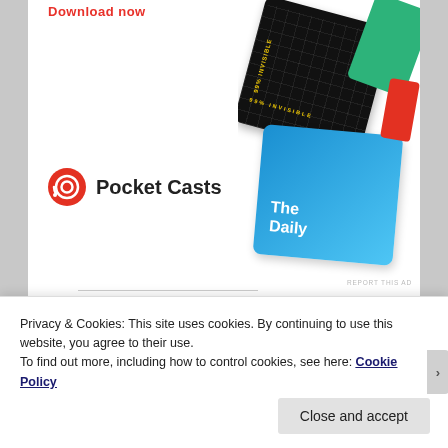[Figure (logo): Pocket Casts logo with red circular headphone icon and text 'Pocket Casts']
[Figure (illustration): Podcast app cards showing '99% Invisible' black card and 'The Daily' blue card]
SHARE THIS:
Twitter
Facebook
Pinterest
Email
Print
Privacy & Cookies: This site uses cookies. By continuing to use this website, you agree to their use.
To find out more, including how to control cookies, see here: Cookie Policy
Close and accept